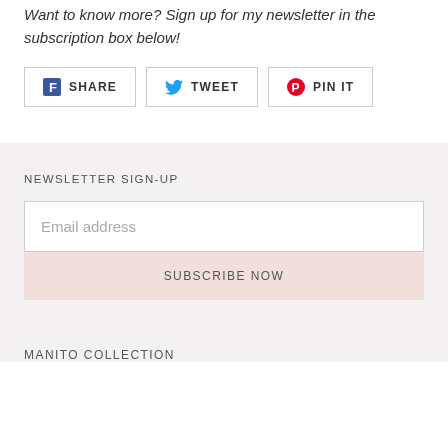Want to know more? Sign up for my newsletter in the subscription box below!
SHARE  TWEET  PIN IT
NEWSLETTER SIGN-UP
Email address
SUBSCRIBE NOW
MANITO COLLECTION